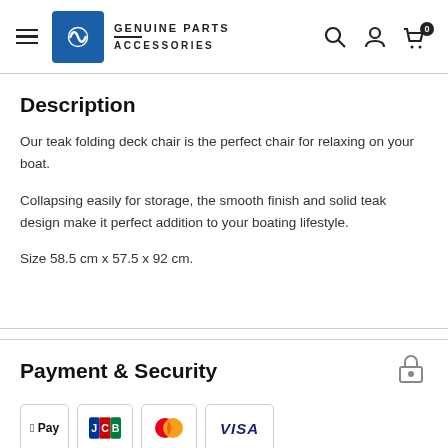GENUINE PARTS ACCESSORIES
Description
Our teak folding deck chair is the perfect chair for relaxing on your boat.
Collapsing easily for storage, the smooth finish and solid teak design make it perfect addition to your boating lifestyle.
Size 58.5 cm x 57.5 x 92 cm.
Payment & Security
[Figure (logo): Payment method logos: Apple Pay, JCB, Mastercard, Visa]